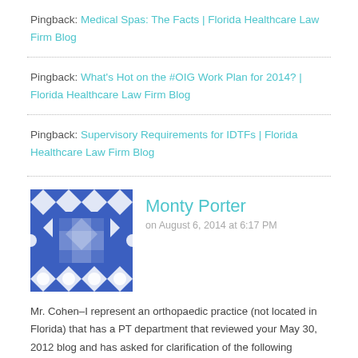Pingback: Medical Spas: The Facts | Florida Healthcare Law Firm Blog
Pingback: What's Hot on the #OIG Work Plan for 2014? | Florida Healthcare Law Firm Blog
Pingback: Supervisory Requirements for IDTFs | Florida Healthcare Law Firm Blog
Monty Porter
on August 6, 2014 at 6:17 PM
Mr. Cohen–I represent an orthopaedic practice (not located in Florida) that has a PT department that reviewed your May 30, 2012 blog and has asked for clarification of the following statement that appears in the 4th paragraph: "For instance, federal law allows a practice to provide DHS to a certain amount of patients who are not patients of that group practice ("outside patients"), but